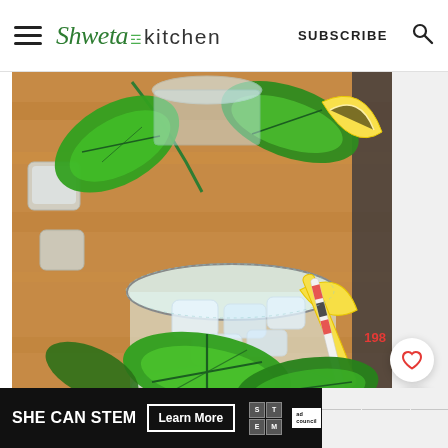Shweta in Kitchen | SUBSCRIBE
[Figure (photo): Overhead/top-down view of a refreshing lemonade or basil drink in a glass filled with ice, garnished with fresh basil leaves and a lemon wedge, with a yellow straw. Additional basil leaves and another glass visible in the background on a wooden surface.]
198
SHE CAN STEM  Learn More